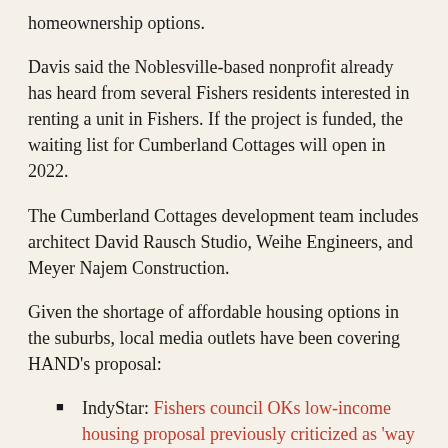homeownership options.
Davis said the Noblesville-based nonprofit already has heard from several Fishers residents interested in renting a unit in Fishers. If the project is funded, the waiting list for Cumberland Cottages will open in 2022.
The Cumberland Cottages development team includes architect David Rausch Studio, Weihe Engineers, and Meyer Najem Construction.
Given the shortage of affordable housing options in the suburbs, local media outlets have been covering HAND's proposal:
IndyStar: Fishers council OKs low-income housing proposal previously criticized as 'way too dense' (Feb. 15)
IndyStar: Affordable housing development